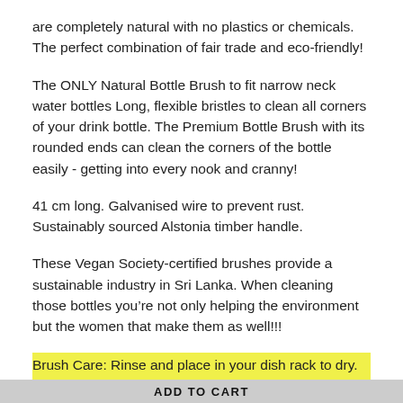are completely natural with no plastics or chemicals. The perfect combination of fair trade and eco-friendly!
The ONLY Natural Bottle Brush to fit narrow neck water bottles Long, flexible bristles to clean all corners of your drink bottle. The Premium Bottle Brush with its rounded ends can clean the corners of the bottle easily - getting into every nook and cranny!
41 cm long. Galvanised wire to prevent rust. Sustainably sourced Alstonia timber handle.
These Vegan Society-certified brushes provide a sustainable industry in Sri Lanka. When cleaning those bottles you’re not only helping the environment but the women that make them as well!!!
Brush Care: Rinse and place in your dish rack to dry. Compost at end of life.